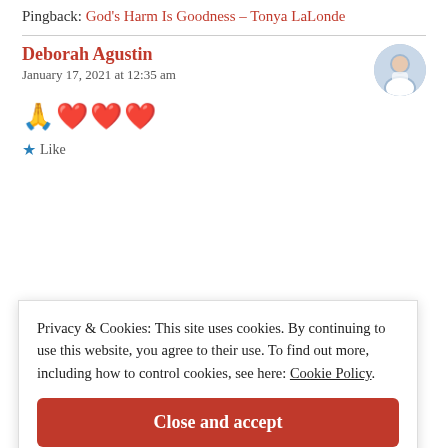Pingback: God's Harm Is Goodness – Tonya LaLonde
Deborah Agustin
January 17, 2021 at 12:35 am
🙏❤️❤️❤️
★ Like
Privacy & Cookies: This site uses cookies. By continuing to use this website, you agree to their use. To find out more, including how to control cookies, see here: Cookie Policy
Close and accept
God grows our faith and draws us closer to Him